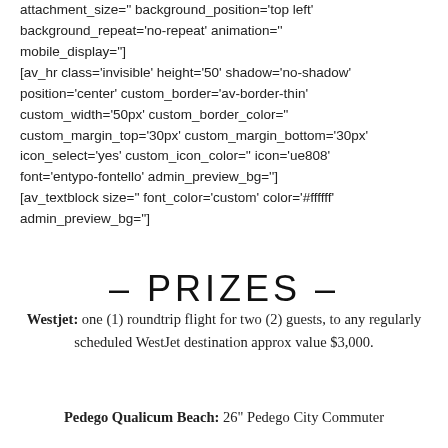attachment_size='' background_position='top left' background_repeat='no-repeat' animation='' mobile_display=''] [av_hr class='invisible' height='50' shadow='no-shadow' position='center' custom_border='av-border-thin' custom_width='50px' custom_border_color='' custom_margin_top='30px' custom_margin_bottom='30px' icon_select='yes' custom_icon_color='' icon='ue808' font='entypo-fontello' admin_preview_bg=''] [av_textblock size='' font_color='custom' color='#ffffff' admin_preview_bg='']
– PRIZES –
Westjet: one (1) roundtrip flight for two (2) guests, to any regularly scheduled WestJet destination approx value $3,000.
Pedego Qualicum Beach: 26" Pedego City Commuter